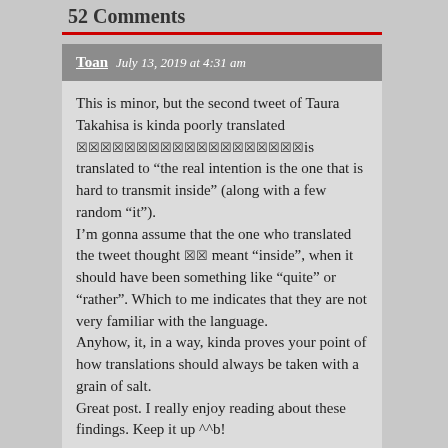52 Comments
Toan  July 13, 2019 at 4:31 am
This is minor, but the second tweet of Taura Takahisa is kinda poorly translated 🅱🅱🅱🅱🅱🅱🅱🅱🅱🅱🅱🅱🅱🅱🅱🅱🅱🅱🅱is translated to “the real intention is the one that is hard to transmit inside” (along with a few random “it”).
I’m gonna assume that the one who translated the tweet thought 🅱🅱 meant “inside”, when it should have been something like “quite” or “rather”. Which to me indicates that they are not very familiar with the language.
Anyhow, it, in a way, kinda proves your point of how translations should always be taken with a grain of salt.
Great post. I really enjoy reading about these findings. Keep it up ^^b!